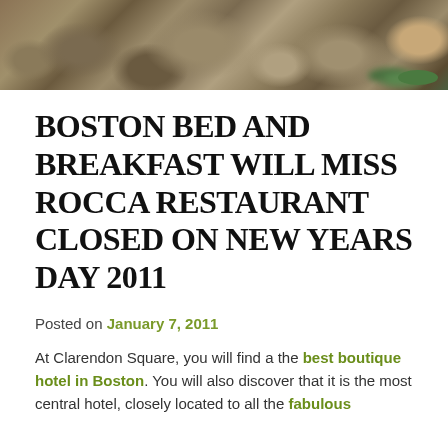[Figure (photo): Hero/banner photo of smooth river rocks and pebbles with green foliage, at the top of a blog post page.]
BOSTON BED AND BREAKFAST WILL MISS ROCCA RESTAURANT CLOSED ON NEW YEARS DAY 2011
Posted on January 7, 2011
At Clarendon Square, you will find a the best boutique hotel in Boston. You will also discover that it is the most central hotel, closely located to all the fabulous